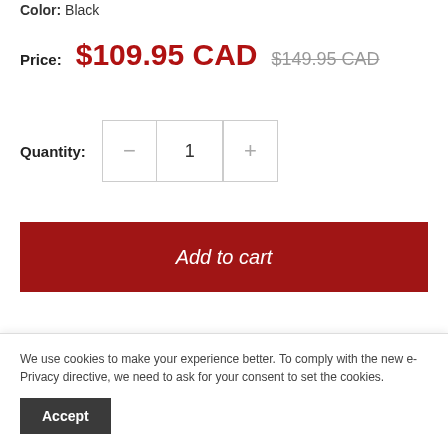Color: Black
Price: $109.95 CAD  $149.95 CAD
Quantity: 1
[Figure (screenshot): Add to cart red button]
[Figure (screenshot): Four circular social sharing icons partially visible]
We use cookies to make your experience better. To comply with the new e-Privacy directive, we need to ask for your consent to set the cookies.
Accept
Description